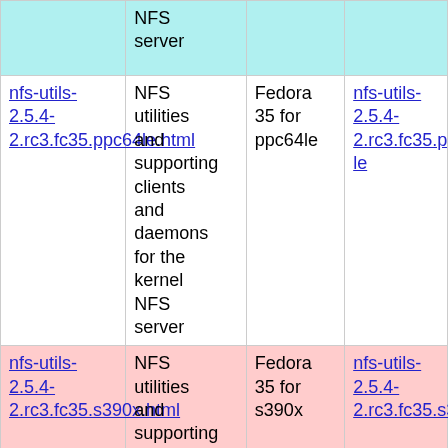| Package | Description | Distribution | Link |
| --- | --- | --- | --- |
|  | NFS server |  |  |
| nfs-utils-2.5.4-2.rc3.fc35.ppc64le.html | NFS utilities and supporting clients and daemons for the kernel NFS server | Fedora 35 for ppc64le | nfs-utils-2.5.4-2.rc3.fc35.ppc64le |
| nfs-utils-2.5.4-2.rc3.fc35.s390x.html | NFS utilities and supporting clients and daemons for the kernel NFS server | Fedora 35 for s390x | nfs-utils-2.5.4-2.rc3.fc35.s390x |
|  | NFS |  |  |